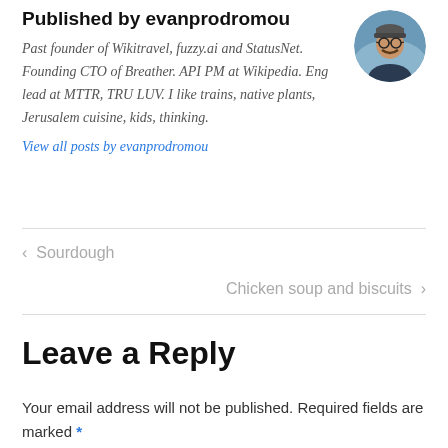Published by evanprodromou
Past founder of Wikitravel, fuzzy.ai and StatusNet. Founding CTO of Breather. API PM at Wikipedia. Eng lead at MTTR, TRU LUV. I like trains, native plants, Jerusalem cuisine, kids, thinking.
[Figure (photo): Circular avatar photo of a man with glasses and a beanie hat, outdoors]
View all posts by evanprodromou
< Sourdough
Chicken soup and biscuits >
Leave a Reply
Your email address will not be published. Required fields are marked *